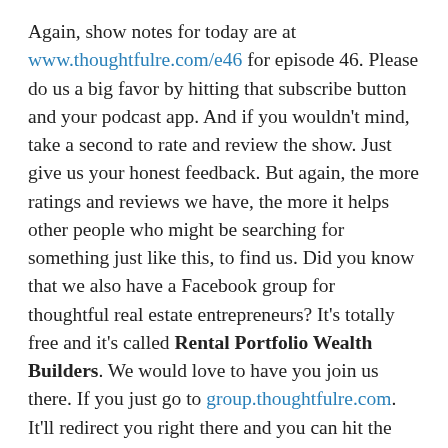Again, show notes for today are at www.thoughtfulre.com/e46 for episode 46. Please do us a big favor by hitting that subscribe button and your podcast app. And if you wouldn't mind, take a second to rate and review the show. Just give us your honest feedback. But again, the more ratings and reviews we have, the more it helps other people who might be searching for something just like this, to find us. Did you know that we also have a Facebook group for thoughtful real estate entrepreneurs? It's totally free and it's called Rental Portfolio Wealth Builders. We would love to have you join us there. If you just go to group.thoughtfulre.com. It'll redirect you right there and you can hit the Join button. If you liked this episode, please take a screenshot of that and post that screenshot on your phone to Instagram and just tag us. We are